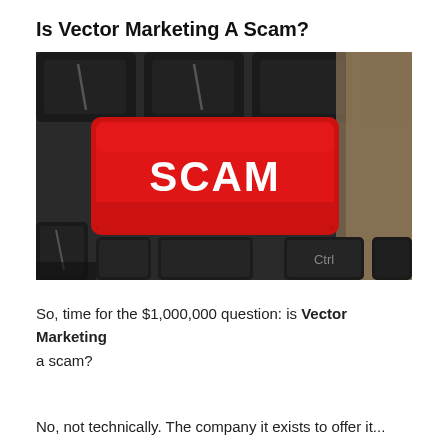Is Vector Marketing A Scam?
[Figure (photo): Close-up photograph of a keyboard with a bright red key labeled 'SCAM' in white bold text, with dark grey surrounding keys including a visible 'Ctrl' key in the lower right.]
So, time for the $1,000,000 question: is Vector Marketing a scam?
No, not technically. The company it exists to offer it...